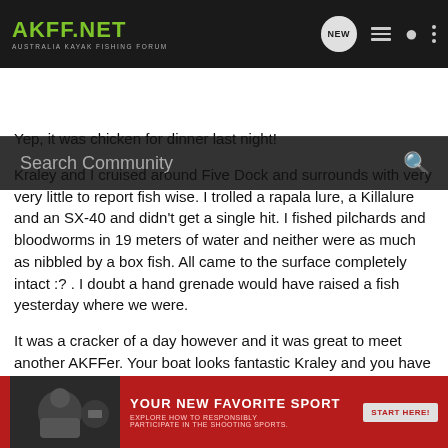AKFF.NET - AUSTRALIA KAYAK FISHING FORUM
Yep, it was chicken for dinner last night!
Kraley and I cruised around Five Dock and surrounds with very very little to report fish wise. I trolled a rapala lure, a Killalure and an SX-40 and didn't get a single hit. I fished pilchards and bloodworms in 19 meters of water and neither were as much as nibbled by a box fish. All came to the surface completely intact :? . I doubt a hand grenade would have raised a fish yesterday where we were.
It was a cracker of a day however and it was great to meet another AKFFer. Your boat looks fantastic Kraley and you have clearly got the hang of it. As you say, nothing stats a convers... Yak. I had ped... h,
[Figure (screenshot): Red advertisement banner: YOUR NEW FAVORITE SPORT - EXPLORE HOW TO RESPONSIBLY PARTICIPATE IN THE SHOOTING SPORTS. START HERE!]